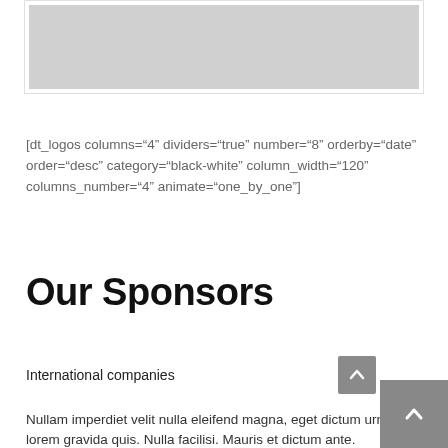[Figure (other): Gray placeholder image box with border]
[dt_logos columns="4" dividers="true" number="8" orderby="date" order="desc" category="black-white" column_width="120" columns_number="4" animate="one_by_one"]
Our Sponsors
International companies
Nullam imperdiet velit nulla eleifend magna, eget dictum urna to lorem gravida quis. Nulla facilisi. Mauris et dictum ante.